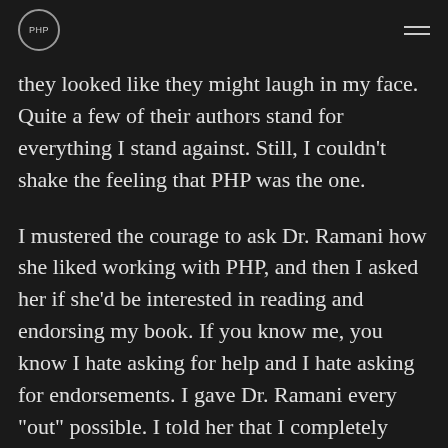PHP
they looked like they might laugh in my face. Quite a few of their authors stand for everything I stand against. Still, I couldn't shake the feeling that PHP was the one.
I mustered the courage to ask Dr. Ramani how she liked working with PHP, and then I asked her if she'd be interested in reading and endorsing my book. If you know me, you know I hate asking for help and I hate asking for endorsements. I gave Dr. Ramani every "out" possible. I told her that I completely understood if she didn't feel comfortable endorsing Little Voices due to the spiritual woo